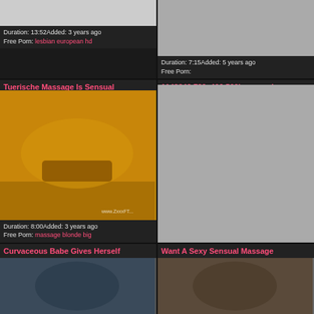[Figure (screenshot): Video thumbnail - partial image visible at top]
Duration: 13:52Added: 3 years ago
Free Porn: lesbian european hd
[Figure (screenshot): Gray video thumbnail]
Duration: 7:15Added: 5 years ago
Free Porn:
Tuerische Massage Is Sensual
[Figure (photo): Massage video thumbnail with orange/golden tones]
Duration: 8:00Added: 3 years ago
Free Porn: massage blonde big
1143342 720x406 500k sensual
[Figure (screenshot): Gray video thumbnail]
Duration: 27:00Added: 5 years ago
Free Porn: sex porn
Curvaceous Babe Gives Herself
Want A Sexy Sensual Massage